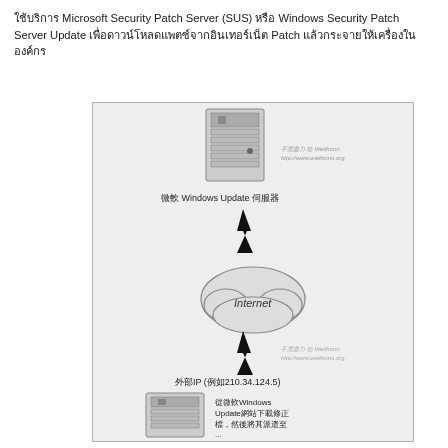ใช้บริการ Microsoft Security Patch Server (SUS) หรือ Windows Security Patch Server Update เพื่อดาวน์โหลดแพตซ์จากอินเทอร์เน็ต Patch แล้วกระจายให้เครื่องในองค์กร
[Figure (schematic): Network diagram showing Microsoft SUS/Windows Update patch server architecture. Top: a server icon with text '微軟 Windows Update 伺服器' and watermark text 'http://www.weithenn.org'. Lightning bolt arrows pointing down through an Internet cloud symbol. Below cloud, text '外部IP (例如210.34.124.5)'. Bottom: another server icon with text '從微軟Windows Update網站下載修正檔，然後將其派遣到...' All on light grey background.]